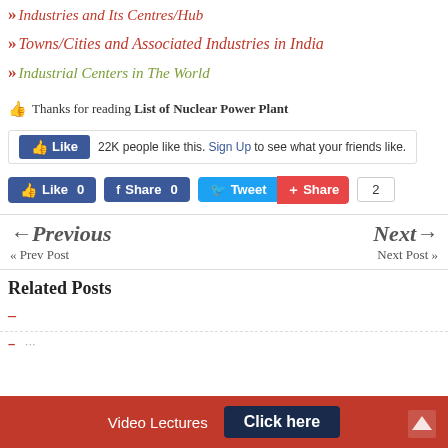» Industries and Its Centres/Hub
» Towns/Cities and Associated Industries in India
» Industrial Centers in The World
Thanks for reading List of Nuclear Power Plant
[Figure (screenshot): Facebook Like plugin showing 22K people like this with Sign Up link]
[Figure (screenshot): Social share buttons: Like 0, Share 0, Tweet, Share, count 2]
← Previous « Prev Post
Next → Next Post »
Related Posts
SSC CGL Tier 1 Solved Paper 28 August 2016 Morning Shift
Video Lectures  Click here